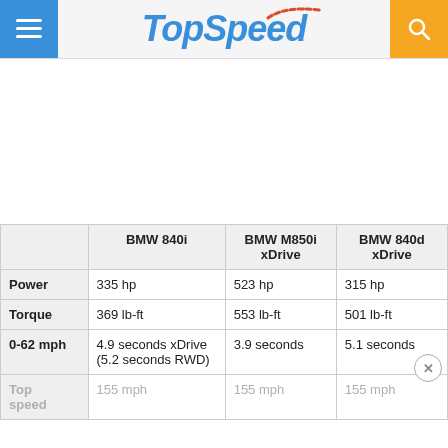TopSpeed
|  | BMW 840i | BMW M850i xDrive | BMW 840d xDrive |
| --- | --- | --- | --- |
| Power | 335 hp | 523 hp | 315 hp |
| Torque | 369 lb-ft | 553 lb-ft | 501 lb-ft |
| 0-62 mph | 4.9 seconds xDrive (5.2 seconds RWD) | 3.9 seconds | 5.1 seconds |
| Top speed | 155 mph | 155 mph | 155 mph |